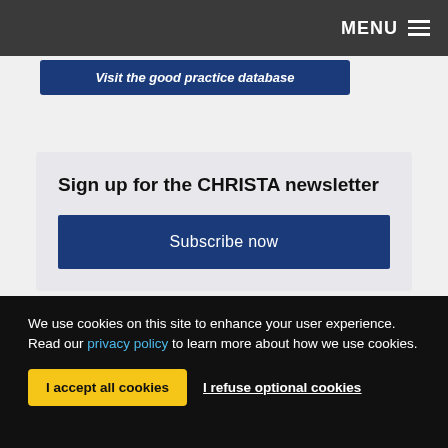MENU
Visit the good practice database
Sign up for the CHRISTA newsletter
Subscribe now
[Figure (other): 2018 banner with EU flag on purple/violet background]
We use cookies on this site to enhance your user experience. Read our privacy policy to learn more about how we use cookies.
I accept all cookies
I refuse optional cookies